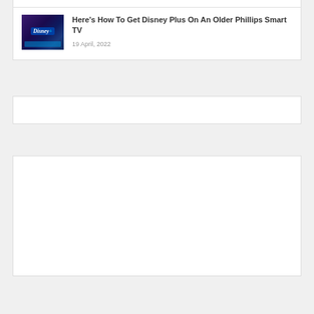[Figure (screenshot): Thumbnail image of Disney Plus on a TV screen with remote]
Here's How To Get Disney Plus On An Older Phillips Smart TV
19 April, 2022